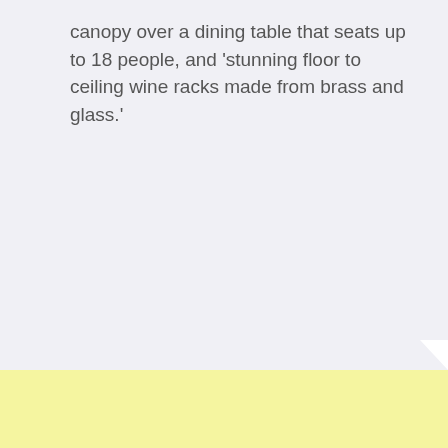canopy over a dining table that seats up to 18 people, and ‘stunning floor to ceiling wine racks made from brass and glass.’